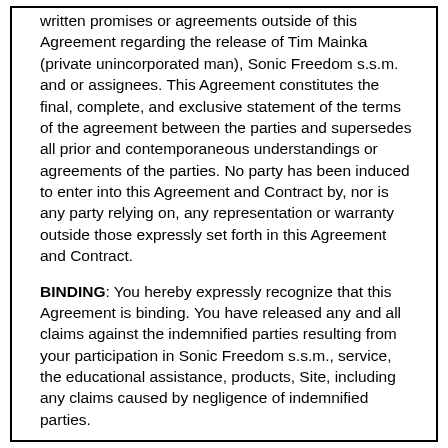written promises or agreements outside of this Agreement regarding the release of Tim Mainka (private unincorporated man), Sonic Freedom s.s.m. and or assignees. This Agreement constitutes the final, complete, and exclusive statement of the terms of the agreement between the parties and supersedes all prior and contemporaneous understandings or agreements of the parties. No party has been induced to enter into this Agreement and Contract by, nor is any party relying on, any representation or warranty outside those expressly set forth in this Agreement and Contract.
BINDING: You hereby expressly recognize that this Agreement is binding. You have released any and all claims against the indemnified parties resulting from your participation in Sonic Freedom s.s.m., service, the educational assistance, products, Site, including any claims caused by negligence of indemnified parties.
YOU HAVE CAREFULLY READ THIS AGREEMENT AND UNDERSTAND ITS CONTENTS. YOU CERTIFY THAT YOU ARE 18 YEARS OF AGE OR OLDER, AND ACCEPT THIS AGREEMENT OF YOUR OWN FREE WILL. ALL GIFTS RECEIVED